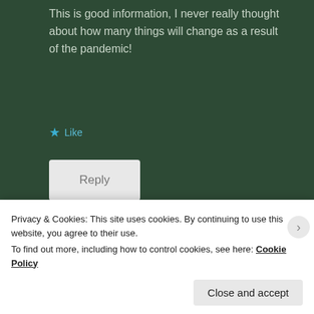This is good information, I never really thought about how many things will change as a result of the pandemic!
★ Like
Reply
Kimberlie
May 18, 2020, 11:35 am
[Figure (illustration): Geometric teal and white pattern avatar for user Kimberlie]
Privacy & Cookies: This site uses cookies. By continuing to use this website, you agree to their use.
To find out more, including how to control cookies, see here: Cookie Policy
Close and accept